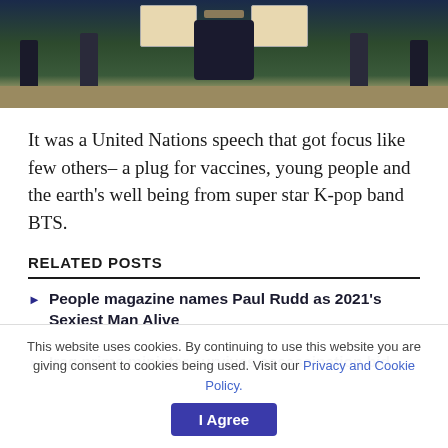[Figure (photo): UN General Assembly hall scene with figures at podium and display boards, audience in foreground, green and dark background]
It was a United Nations speech that got focus like few others– a plug for vaccines, young people and the earth's well being from super star K-pop band BTS.
RELATED POSTS
People magazine names Paul Rudd as 2021's Sexiest Man Alive
Iraq prime minister survives assassination bid
This website uses cookies. By continuing to use this website you are giving consent to cookies being used. Visit our Privacy and Cookie Policy.